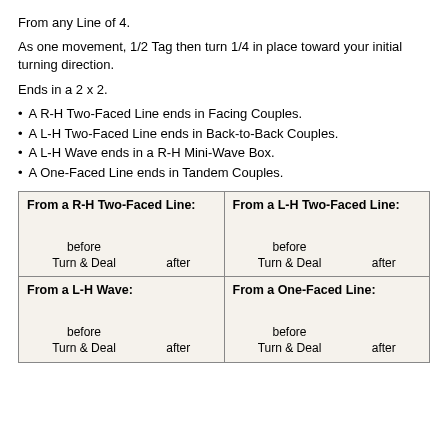From any Line of 4.
As one movement, 1/2 Tag then turn 1/4 in place toward your initial turning direction.
Ends in a 2 x 2.
A R-H Two-Faced Line ends in Facing Couples.
A L-H Two-Faced Line ends in Back-to-Back Couples.
A L-H Wave ends in a R-H Mini-Wave Box.
A One-Faced Line ends in Tandem Couples.
| From a R-H Two-Faced Line: | From a L-H Two-Faced Line: | From a L-H Wave: | From a One-Faced Line: |
| --- | --- | --- | --- |
| before Turn & Deal | after | before Turn & Deal | after |
| before Turn & Deal | after | before Turn & Deal | after |